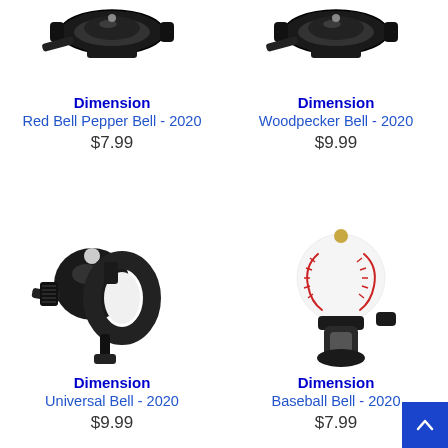[Figure (photo): Black bicycle bell (Red Bell Pepper Bell) mounted on handlebar clamp, partial top view on white background]
Dimension
Red Bell Pepper Bell - 2020
$7.99
[Figure (photo): Black bicycle bell (Woodpecker Bell) mounted on handlebar clamp, partial top view on white background]
Dimension
Woodpecker Bell - 2020
$9.99
[Figure (photo): Black bicycle universal bell with handlebar clamp and adjustment screw on white background]
Dimension
Universal Bell - 2020
$9.99
[Figure (photo): Baseball-shaped bicycle bell mounted on black handlebar clamp on white background]
Dimension
Baseball Bell - 2020
$7.99